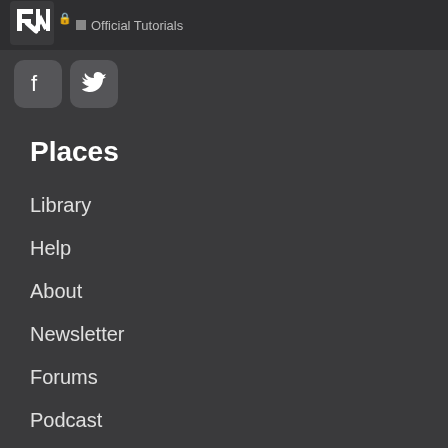Official Tutorials
[Figure (logo): Raywenderlich logo icon - stylized RW letters in white on dark background]
[Figure (illustration): Social media icons: Facebook and Twitter rounded square buttons]
Places
Library
Help
About
Newsletter
Forums
Podcast
Store